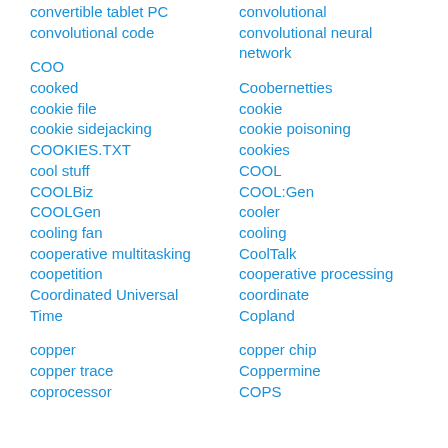convertible tablet PC
convolutional
convolutional code
convolutional neural network
COO
Coobernetties
cooked
cookie
cookie file
cookie poisoning
cookie sidejacking
cookies
COOKIES.TXT
COOL
cool stuff
COOL:Gen
COOLBiz
cooler
COOLGen
cooling
cooling fan
CoolTalk
cooperative multitasking
cooperative processing
coopetition
coordinate
Coordinated Universal Time
Copland
copper
copper chip
copper trace
Coppermine
coprocessor
COPS